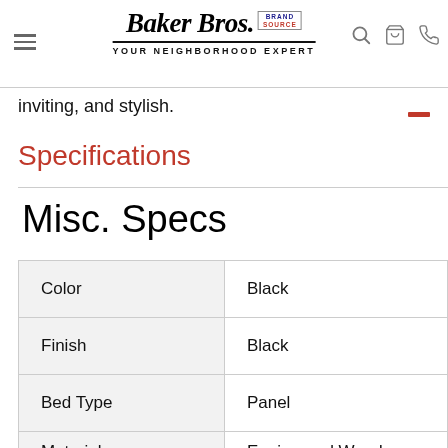Baker Bros. Brand Source — Your Neighborhood Expert
inviting, and stylish.
Specifications
Misc. Specs
|  |  |
| --- | --- |
| Color | Black |
| Finish | Black |
| Bed Type | Panel |
| Material | Engineered Wood |